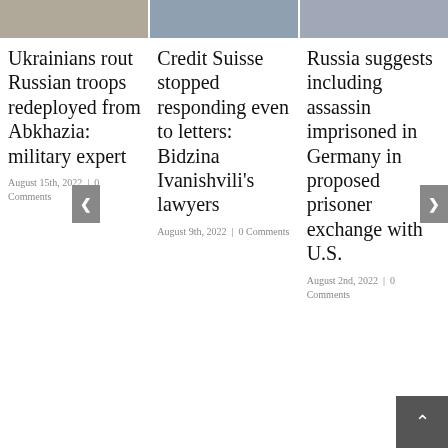[Figure (photo): Three thumbnail images of news articles at top of page]
Ukrainians rout Russian troops redeployed from Abkhazia: military expert
August 15th, 2022 | 0 Comments
Credit Suisse stopped responding even to letters: Bidzina Ivanishvili's lawyers
August 9th, 2022 | 0 Comments
Russia suggests including assassin imprisoned in Germany in proposed prisoner exchange with U.S.
August 2nd, 2022 | 0 Comments